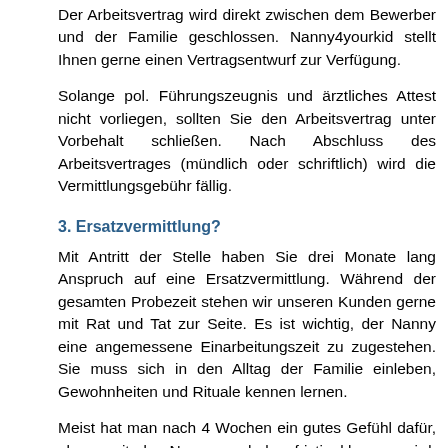Der Arbeitsvertrag wird direkt zwischen dem Bewerber und der Familie geschlossen. Nanny4yourkid stellt Ihnen gerne einen Vertragsentwurf zur Verfügung.
Solange pol. Führungszeugnis und ärztliches Attest nicht vorliegen, sollten Sie den Arbeitsvertrag unter Vorbehalt schließen. Nach Abschluss des Arbeitsvertrages (mündlich oder schriftlich) wird die Vermittlungsgebühr fällig.
3. Ersatzvermittlung?
Mit Antritt der Stelle haben Sie drei Monate lang Anspruch auf eine Ersatzvermittlung. Während der gesamten Probezeit stehen wir unseren Kunden gerne mit Rat und Tat zur Seite. Es ist wichtig, der Nanny eine angemessene Einarbeitungszeit zu zugestehen. Sie muss sich in den Alltag der Familie einleben, Gewohnheiten und Rituale kennen lernen.
Meist hat man nach 4 Wochen ein gutes Gefühl dafür, ob es mit der Nanny auch langfristig klappen wird. Kommen Sie